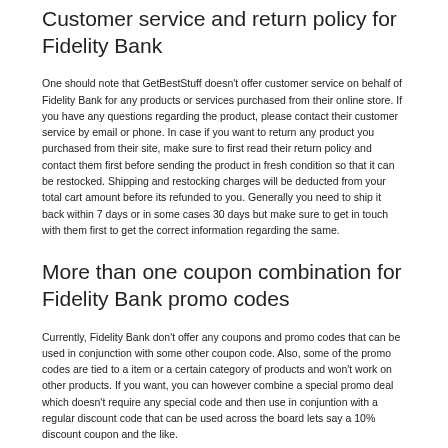that the deal or promo code you are trying to use is still valid or they may not work. However, we have found that in many cases, even if the promo codes are past the validity date, they still work.
Customer service and return policy for Fidelity Bank
One should note that GetBestStuff doesn't offer customer service on behalf of Fidelity Bank for any products or services purchased from their online store. If you have any questions regarding the product, please contact their customer service by email or phone. In case if you want to return any product you purchased from their site, make sure to first read their return policy and contact them first before sending the product in fresh condition so that it can be restocked. Shipping and restocking charges will be deducted from your total cart amount before its refunded to you. Generally you need to ship it back within 7 days or in some cases 30 days but make sure to get in touch with them first to get the correct information regarding the same.
More than one coupon combination for Fidelity Bank promo codes
Currently, Fidelity Bank don't offer any coupons and promo codes that can be used in conjunction with some other coupon code. Also, some of the promo codes are tied to a item or a certain category of products and won't work on other products. If you want, you can however combine a special promo deal which doesn't require any special code and then use in conjuntion with a regular discount code that can be used across the board lets say a 10% discount coupon and the like.
Fidelity Bank promo codes aren't listed on GetBestStuff. We only deal in coupons that can be used online on Fidelity Bank's official store.
.